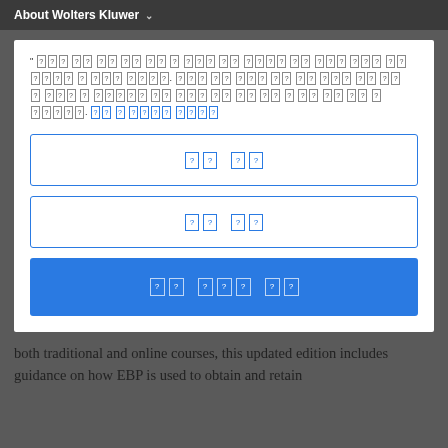About Wolters Kluwer
[Figure (screenshot): A web login/modal dialog with garbled/missing font characters displayed as bordered boxes with question marks, two input fields with blue borders, and a blue submit button. All text is unreadable due to font rendering failure.]
both traditional and online courses, this updated edition includes guidance on how EBP is used to obtain and retain